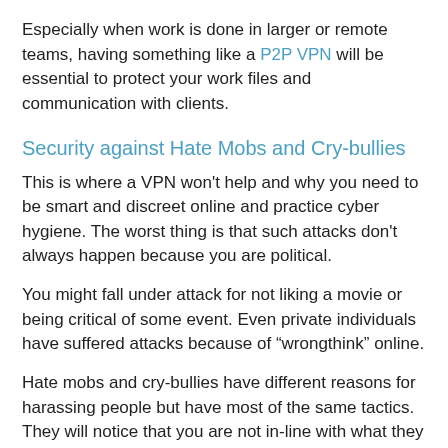Especially when work is done in larger or remote teams, having something like a P2P VPN will be essential to protect your work files and communication with clients.
Security against Hate Mobs and Cry-bullies
This is where a VPN won't help and why you need to be smart and discreet online and practice cyber hygiene. The worst thing is that such attacks don't always happen because you are political.
You might fall under attack for not liking a movie or being critical of some event. Even private individuals have suffered attacks because of “wrongthink” online.
Hate mobs and cry-bullies have different reasons for harassing people but have most of the same tactics. They will notice that you are not in-line with what they want and try to punish you to express power over others.